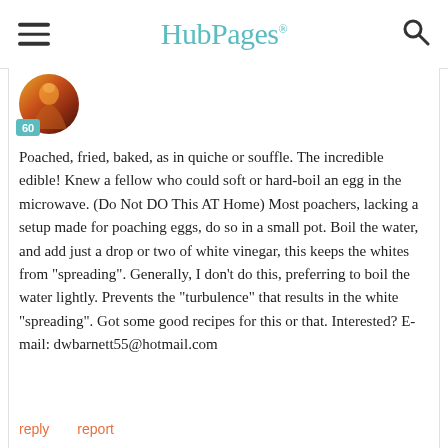HubPages
[Figure (photo): User avatar with orange/brown gradient image and teal badge showing number 60]
Poached, fried, baked, as in quiche or souffle. The incredible edible!  Knew a fellow who could soft or hard-boil an egg in the microwave. (Do Not DO This AT Home)  Most poachers, lacking a setup made for poaching eggs, do so in a small pot. Boil the water, and add just a drop or two of white vinegar, this keeps the whites from "spreading". Generally, I don't do this, preferring to boil the water lightly. Prevents the "turbulence" that results in the white "spreading". Got some good recipes for this or that. Interested? E-mail: dwbarnett55@hotmail.com
reply
report